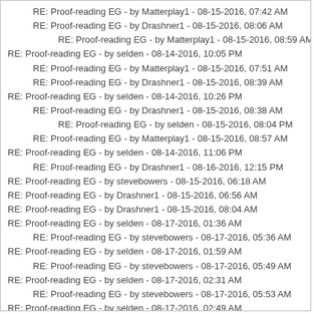RE: Proof-reading EG - by Matterplay1 - 08-15-2016, 07:42 AM
RE: Proof-reading EG - by Drashner1 - 08-15-2016, 08:06 AM
RE: Proof-reading EG - by Matterplay1 - 08-15-2016, 08:59 AM
RE: Proof-reading EG - by selden - 08-14-2016, 10:05 PM
RE: Proof-reading EG - by Matterplay1 - 08-15-2016, 07:51 AM
RE: Proof-reading EG - by Drashner1 - 08-15-2016, 08:39 AM
RE: Proof-reading EG - by selden - 08-14-2016, 10:26 PM
RE: Proof-reading EG - by Drashner1 - 08-15-2016, 08:38 AM
RE: Proof-reading EG - by selden - 08-15-2016, 08:04 PM
RE: Proof-reading EG - by Matterplay1 - 08-15-2016, 08:57 AM
RE: Proof-reading EG - by selden - 08-14-2016, 11:06 PM
RE: Proof-reading EG - by Drashner1 - 08-16-2016, 12:15 PM
RE: Proof-reading EG - by stevebowers - 08-15-2016, 06:18 AM
RE: Proof-reading EG - by Drashner1 - 08-15-2016, 06:56 AM
RE: Proof-reading EG - by Drashner1 - 08-15-2016, 08:04 AM
RE: Proof-reading EG - by selden - 08-17-2016, 01:36 AM
RE: Proof-reading EG - by stevebowers - 08-17-2016, 05:36 AM
RE: Proof-reading EG - by selden - 08-17-2016, 01:59 AM
RE: Proof-reading EG - by stevebowers - 08-17-2016, 05:49 AM
RE: Proof-reading EG - by selden - 08-17-2016, 02:31 AM
RE: Proof-reading EG - by stevebowers - 08-17-2016, 05:53 AM
RE: Proof-reading EG - by selden - 08-17-2016, 02:49 AM
RE: Proof-reading EG - by stevebowers - 08-17-2016, 05:55 AM
RE: Proof-reading EG - by selden - 08-17-2016, 03:01 AM